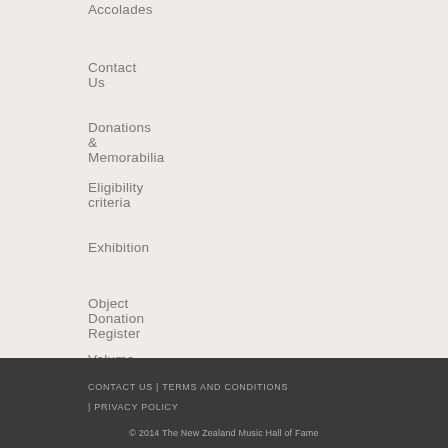Accolades
Contact Us
Donations & Memorabilia
Eligibility criteria
Exhibition
Object Donation Register
Volume exhibition
Volume South @ MIT
CONTACT US | TERMS AND CONDITIONS | PRIVACY POLICY
© 2014 The New Zealand Music Hall of Fame